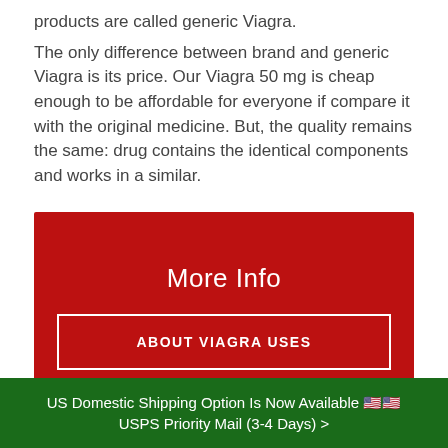products are called generic Viagra.
The only difference between brand and generic Viagra is its price. Our Viagra 50 mg is cheap enough to be affordable for everyone if compare it with the original medicine. But, the quality remains the same: drug contains the identical components and works in a similar.
[Figure (infographic): Red banner with 'More Info' heading and 'ABOUT VIAGRA USES' button outlined in white border on red background]
HOW DOES IT WORK?
US Domestic Shipping Option Is Now Available 🇺🇸 USPS Priority Mail (3-4 Days) >